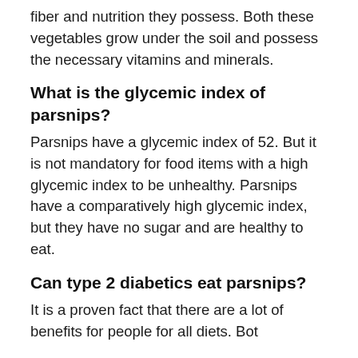fiber and nutrition they possess. Both these vegetables grow under the soil and possess the necessary vitamins and minerals.
What is the glycemic index of parsnips?
Parsnips have a glycemic index of 52. But it is not mandatory for food items with a high glycemic index to be unhealthy. Parsnips have a comparatively high glycemic index, but they have no sugar and are healthy to eat.
Can type 2 diabetics eat parsnips?
It is a proven fact that there are a lot of benefits for people for all diets. Bot...